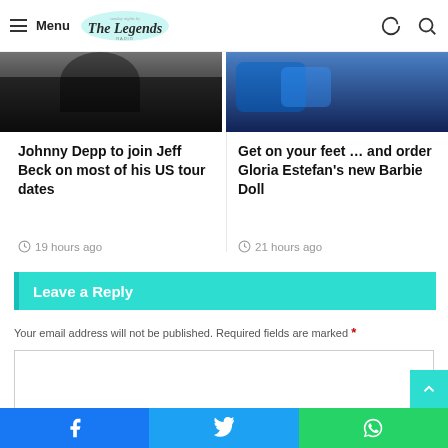Menu | The Legends (logo)
[Figure (photo): Left: dark concert/event photo. Right: blue-toned artistic photo with color splashes.]
Johnny Depp to join Jeff Beck on most of his US tour dates
19 hours ago
Get on your feet … and order Gloria Estefan's new Barbie Doll
21 hours ago
Leave a Reply
Your email address will not be published. Required fields are marked *
Facebook | Twitter | WhatsApp share buttons